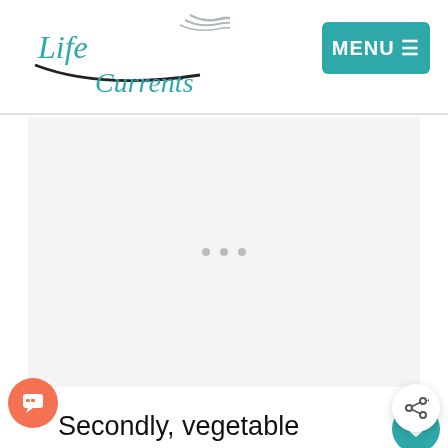Life Currents
[Figure (logo): Life Currents logo with stylized wave lines and teal text]
[Figure (other): MENU button with hamburger icon in teal/cyan color]
[Figure (other): Advertisement placeholder area with three gray dots]
Secondly, vegetable shortening contains 0% fat, whereas butter is typically around 80% fat, with some water and milk